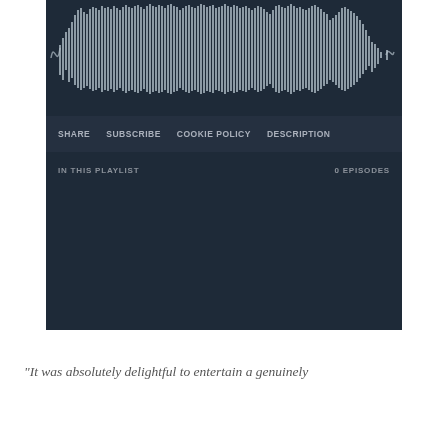[Figure (screenshot): Audio podcast player widget with waveform visualization at top, navigation bar with SHARE, SUBSCRIBE, COOKIE POLICY, DESCRIPTION links, and a playlist section showing 'IN THIS PLAYLIST' and '0 EPISODES'. Dark navy/slate color scheme.]
“It was absolutely delightful to entertain a genuinely